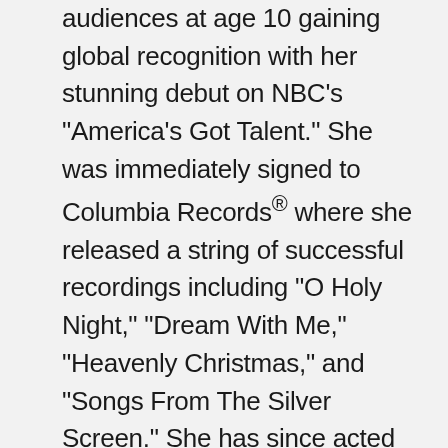audiences at age 10 gaining global recognition with her stunning debut on NBC's "America's Got Talent." She was immediately signed to Columbia Records® where she released a string of successful recordings including "O Holy Night," "Dream With Me," "Heavenly Christmas," and "Songs From The Silver Screen." She has since acted in Robert Redford's "The Company You Keep" alongside Susan Sarandon, Shia LeBeouf and Nick Nolte, and performed as a special guest in Cirque du Soleil's "One Night for One Drop" benefit at the Bellagio in Las Vegas. She also starred in the Fall 2012 GUESS® Kids clothing campaign, and performed the classic film song "Over the Rainbow" at the